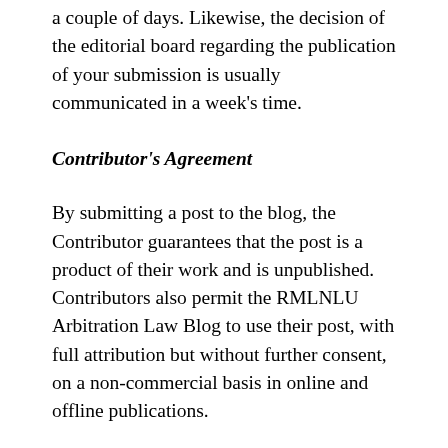a couple of days. Likewise, the decision of the editorial board regarding the publication of your submission is usually communicated in a week's time.
Contributor's Agreement
By submitting a post to the blog, the Contributor guarantees that the post is a product of their work and is unpublished. Contributors also permit the RMLNLU Arbitration Law Blog to use their post, with full attribution but without further consent, on a non-commercial basis in online and offline publications.